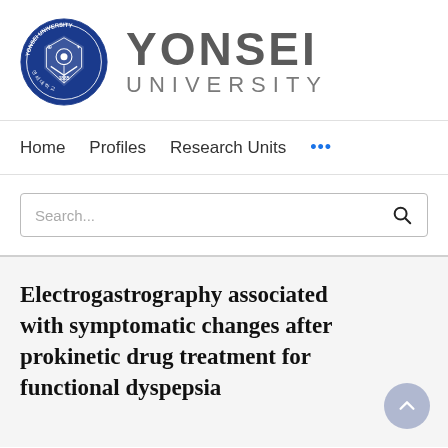[Figure (logo): Yonsei University logo: circular blue seal with crest on left, and 'YONSEI UNIVERSITY' text in grey on the right]
Home   Profiles   Research Units   ...
[Figure (other): Search bar with placeholder text 'Search...' and a search icon on the right]
Electrogastrography associated with symptomatic changes after prokinetic drug treatment for functional dyspepsia